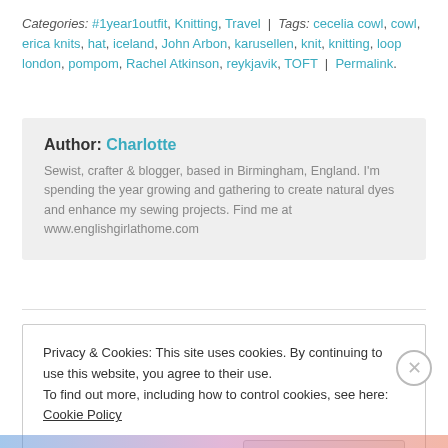Categories: #1year1outfit, Knitting, Travel | Tags: cecelia cowl, cowl, erica knits, hat, iceland, John Arbon, karusellen, knit, knitting, loop london, pompom, Rachel Atkinson, reykjavik, TOFT | Permalink.
Author: Charlotte
Sewist, crafter & blogger, based in Birmingham, England. I'm spending the year growing and gathering to create natural dyes and enhance my sewing projects. Find me at www.englishgirlathome.com
Privacy & Cookies: This site uses cookies. By continuing to use this website, you agree to their use.
To find out more, including how to control cookies, see here: Cookie Policy
Close and accept